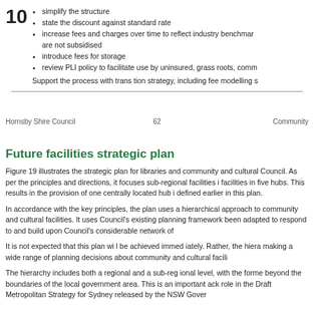simplify the structure
state the discount against standard rate
increase fees and charges over time to reflect industry benchmarks that are not subsidised
introduce fees for storage
review PLI policy to facilitate use by uninsured, grass roots, community groups
Support the process with transition strategy, including fee modelling and communication strategies.
Hornsby Shire Council    62    Community
Future facilities strategic plan
Figure 19 illustrates the strategic plan for libraries and community and cultural facilities across Council. As per the principles and directions, it focuses sub-regional facilities in town centres and facilities in five hubs. This results in the provision of one centrally located hub in each of the areas defined earlier in this plan.
In accordance with the key principles, the plan uses a hierarchical approach to the provision of community and cultural facilities. It uses Council's existing planning framework which has been adapted to respond to and build upon Council's considerable network of existing facilities.
It is not expected that this plan will be achieved immediately. Rather, the hierarchy will assist in making a wide range of planning decisions about community and cultural facilities.
The hierarchy includes both a regional and a sub-regional level, with the former stretching beyond the boundaries of the local government area. This is an important acknowledgement of role in the Draft Metropolitan Strategy for Sydney released by the NSW Government.